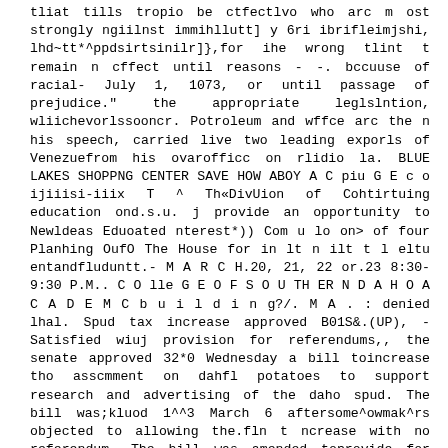tliat tills tropio be ctfectlvo who arc m ost strongly ngiilnst immihllutt] y 6ri ibrifleimjshi, lhd~tt*^ppdsirtsinilr]},for ihe wrong tlint t remain n cffect until reasons - -. bccuuse of racial- July 1, 1073, or until passage of prejudice." the appropriate leglslntion, wliichevorlssooncr. Potroleum and wffce arc the n his speech, carried live two leading exporls of Venezuelrom his ovarofficc on rlidio la. BLUE LAKES SHOPPNG CENTER SAVE HOW ABOY A C piu G E c o ijiiisi- iiix T ^ Th«DivUion of Cohtirtuing education ond.s.u. j provide an opportunity to Newldeas Eduoated nterest*)) Com u lo on> of four Planhing OufO The House for in lt n ilt t l eltu entandfluduntt.- M A R C H.20, 21, 22 or.23 8:30-9:30 P.M.. C O lle G E O F S O U TH ER N D A H O A C A D E M C b u i l d i n g?/. M A . : denied lhal. Spud tax increase approved B01S&.(UP), - Satisfied wiuj provision for referendums,, the senate approved 32*0 Wednesday a bill toincrease tho asscmment on dahfl potatoes to support research and advertising of the daho spud. The bill was;kluod 1^^3 March 6 aftersome^owmak^rs objected to allowing the.fln t ncrease with no referendum. The bill was amended toprovide for referendums con- -ducted by thc Commiaioner of Agriculture before^ach step:. an nunediats increase from 2V4- Cents per hundrfedweifht t